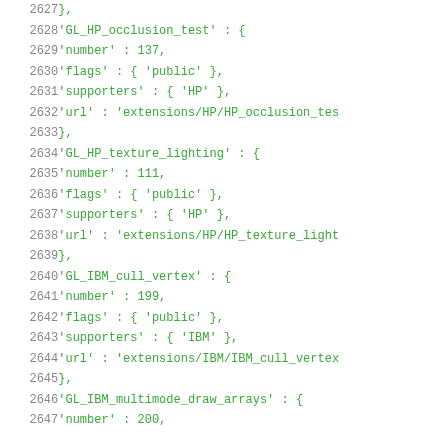Code listing lines 2627-2647 showing OpenGL extension registry entries for GL_HP_occlusion_test, GL_HP_texture_lighting, GL_IBM_cull_vertex, and GL_IBM_multimode_draw_arrays in monospace green font with line numbers.